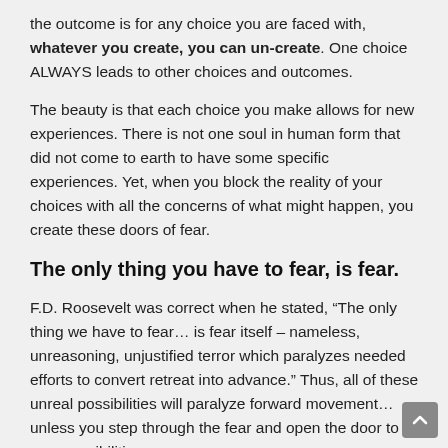the outcome is for any choice you are faced with, whatever you create, you can un-create. One choice ALWAYS leads to other choices and outcomes.
The beauty is that each choice you make allows for new experiences. There is not one soul in human form that did not come to earth to have some specific experiences. Yet, when you block the reality of your choices with all the concerns of what might happen, you create these doors of fear.
The only thing you have to fear, is fear.
F.D. Roosevelt was correct when he stated, “The only thing we have to fear… is fear itself – nameless, unreasoning, unjustified terror which paralyzes needed efforts to convert retreat into advance.” Thus, all of these unreal possibilities will paralyze forward movement… unless you step through the fear and open the door to new possibilities.